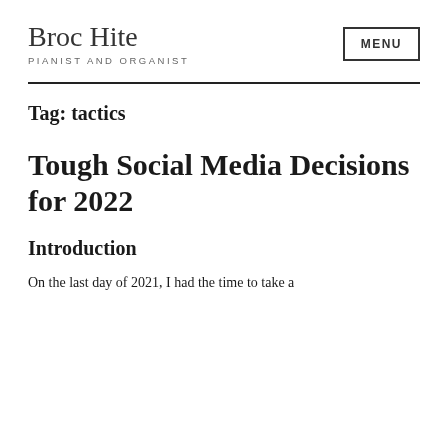Broc Hite
PIANIST AND ORGANIST
MENU
Tag: tactics
Tough Social Media Decisions for 2022
Introduction
On the last day of 2021, I had the time to take a